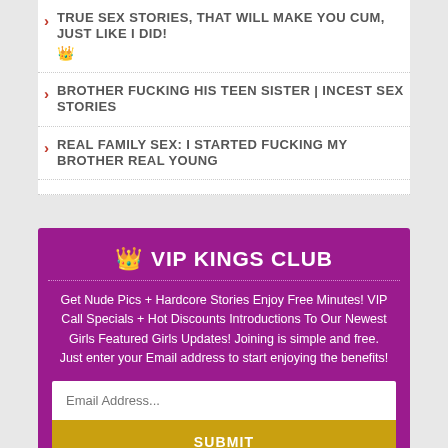TRUE SEX STORIES, THAT WILL MAKE YOU CUM, JUST LIKE I DID! 👑
BROTHER FUCKING HIS TEEN SISTER | INCEST SEX STORIES
REAL FAMILY SEX: I STARTED FUCKING MY BROTHER REAL YOUNG
👑 VIP KINGS CLUB
Get Nude Pics + Hardcore Stories Enjoy Free Minutes! VIP Call Specials + Hot Discounts Introductions To Our Newest Girls Featured Girls Updates! Joining is simple and free. Just enter your Email address to start enjoying the benefits!